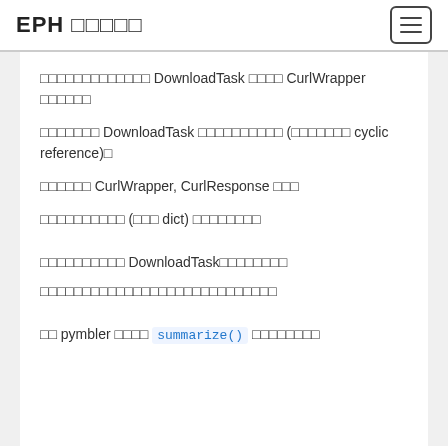EPH □□□□□
□□□□□□□□□□□□□ DownloadTask □□□□ CurlWrapper □□□□□□
□□□□□□□ DownloadTask □□□□□□□□□□□ (□□□□□□□ cyclic reference)□
□□□□□□ CurlWrapper, CurlResponse □□□
□□□□□□□□□□ (□□□ dict) □□□□□□□□
□□□□□□□□□□ DownloadTask □□□□□□□□
□□□□□□□□□□□□□□□□□□□□□□□□□□
□□ pymbler □□□□  summarize()  □□□□□□□□